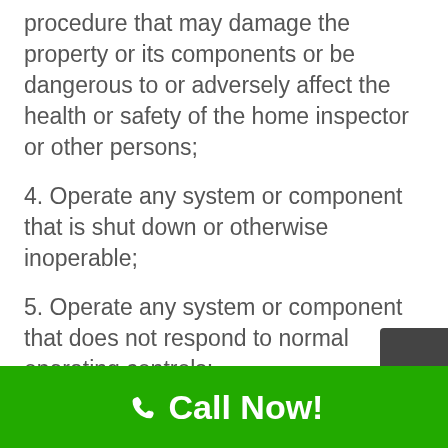procedure that may damage the property or its components or be dangerous to or adversely affect the health or safety of the home inspector or other persons;
4. Operate any system or component that is shut down or otherwise inoperable;
5. Operate any system or component that does not respond to normal operating controls;
6. Move personal items, panels,
Call Now!